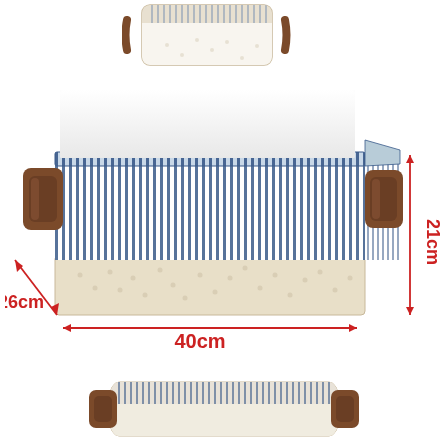[Figure (photo): Top-view of a folded fabric storage basket with blue and white stripe pattern and brown leather handles]
[Figure (photo): Main product photo of a rectangular fabric storage basket with blue and white vertical stripes, beige dotted bottom, and brown leather handles. Red dimension annotations show 40cm width, 26cm depth, and 21cm height.]
[Figure (photo): Bottom/side view of the fabric storage basket showing collapsed flat, blue stripe pattern and brown leather handles]